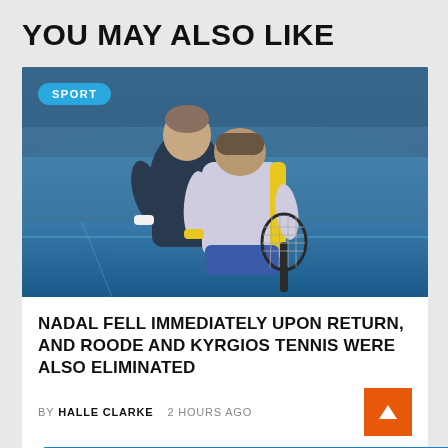YOU MAY ALSO LIKE
[Figure (photo): Two tennis players embracing/shaking hands on an indoor tennis court. One player faces the camera wearing a dark navy shirt, the other has his back to the camera wearing a light purple/white top with yellow stripe and holding a tennis racket. A 'SPORT' badge is overlaid in the top-left corner.]
NADAL FELL IMMEDIATELY UPON RETURN, AND ROODE AND KYRGIOS TENNIS WERE ALSO ELIMINATED
BY HALLE CLARKE   2 HOURS AGO